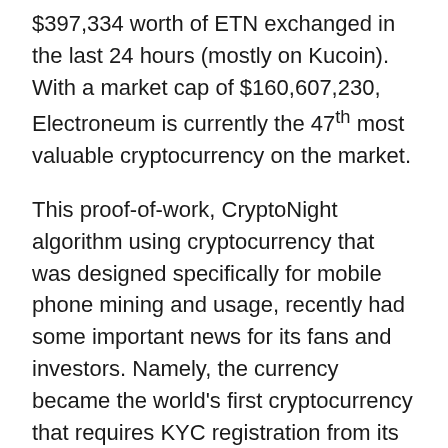$397,334 worth of ETN exchanged in the last 24 hours (mostly on Kucoin). With a market cap of $160,607,230, Electroneum is currently the 47th most valuable cryptocurrency on the market.
This proof-of-work, CryptoNight algorithm using cryptocurrency that was designed specifically for mobile phone mining and usage, recently had some important news for its fans and investors. Namely, the currency became the world's first cryptocurrency that requires KYC registration from its users. The project themselves describe why such a move was made:
“We’ve been talking to a number of these